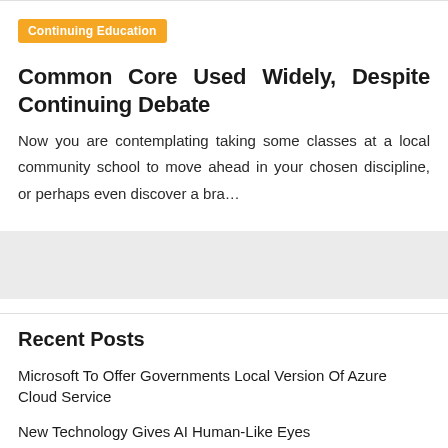Continuing Education
Common Core Used Widely, Despite Continuing Debate
Now you are contemplating taking some classes at a local community school to move ahead in your chosen discipline, or perhaps even discover a bra…
Recent Posts
Microsoft To Offer Governments Local Version Of Azure Cloud Service
New Technology Gives AI Human-Like Eyes